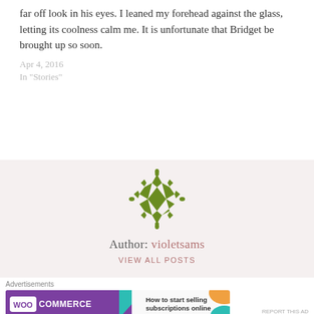far off look in his eyes. I leaned my forehead against the glass, letting its coolness calm me. It is unfortunate that Bridget be brought up so soon.
Apr 4, 2016
In "Stories"
[Figure (logo): Decorative geometric green diamond/floral pattern logo]
Author: violetsams
VIEW ALL POSTS
Advertisements
[Figure (screenshot): WooCommerce advertisement banner: 'How to start selling subscriptions online']